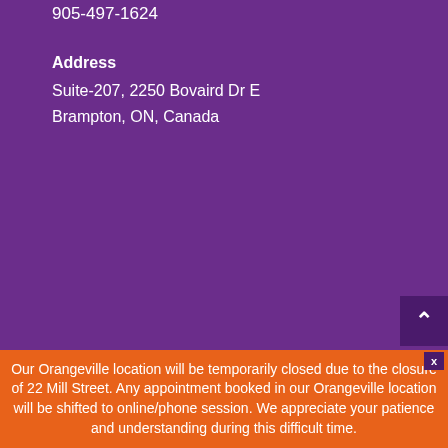905-497-1624
Address
Suite-207, 2250 Bovaird Dr E
Brampton, ON, Canada
Our Orangeville location will be temporarily closed due to the closure of 22 Mill Street. Any appointment booked in our Orangeville location will be shifted to online/phone session. We appreciate your patience and understanding during this difficult time.